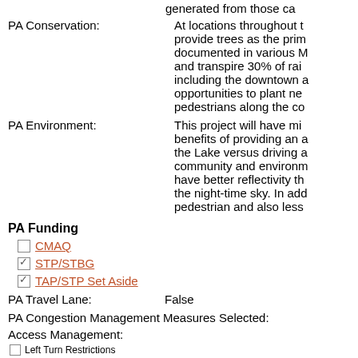generated from those ca
PA Conservation:
At locations throughout t provide trees as the prim documented in various M and transpire 30% of rai including the downtown a opportunities to plant ne pedestrians along the co
PA Environment:
This project will have mi benefits of providing an the Lake versus driving a community and environm have better reflectivity t the night-time sky. In ad pedestrian and also less
PA Funding
CMAQ
STP/STBG
TAP/STP Set Aside
PA Travel Lane: False
PA Congestion Management Measures Selected:
Access Management:
Left Turn Restrictions